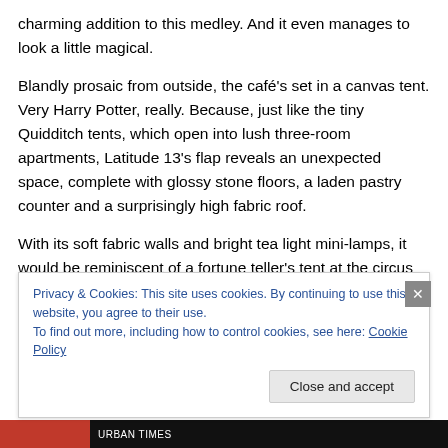charming addition to this medley. And it even manages to look a little magical.
Blandly prosaic from outside, the café's set in a canvas tent. Very Harry Potter, really. Because, just like the tiny Quidditch tents, which open into lush three-room apartments, Latitude 13's flap reveals an unexpected space, complete with glossy stone floors, a laden pastry counter and a surprisingly high fabric roof.
With its soft fabric walls and bright tea light mini-lamps, it would be reminiscent of a fortune teller's tent at the circus
Privacy & Cookies: This site uses cookies. By continuing to use this website, you agree to their use.
To find out more, including how to control cookies, see here: Cookie Policy
Close and accept